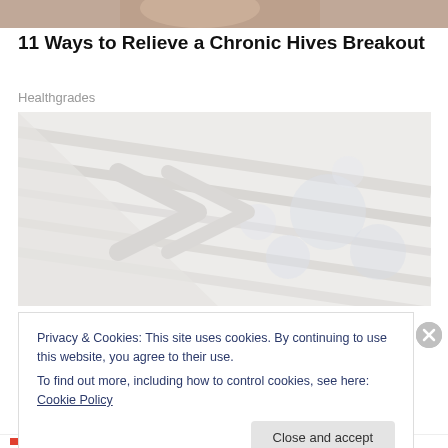[Figure (photo): Partial view of a person's face/head at the top of the page, cropped]
11 Ways to Relieve a Chronic Hives Breakout
Healthgrades
[Figure (illustration): Abstract light-colored background image with geometric shapes and soft bokeh circles, used as an advertisement or article image]
Privacy & Cookies: This site uses cookies. By continuing to use this website, you agree to their use.
To find out more, including how to control cookies, see here: Cookie Policy
Close and accept